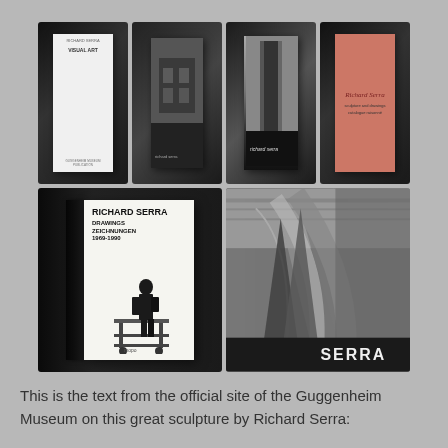[Figure (photo): Collage of six photographs showing various Richard Serra art books arranged standing upright against dark backgrounds. Top row shows four books: a white-covered book, a dark book with a building photo, a book with a tall sculpture/tower on the cover labeled 'richard serra', and a salmon/pink-covered book titled 'Richard Serra'. Bottom row shows two large books: left is 'Richard Serra Drawings Zeichnungen 1969-1990' with a person on scaffolding, right shows a Serra sculpture in an industrial space with 'SERRA' text at bottom.]
This is the text from the official site of the Guggenheim Museum on this great sculpture by Richard Serra: